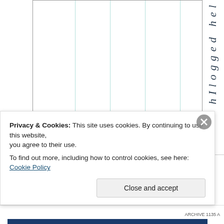[Figure (other): Partial view of a chart or table with vertical column lines in light teal/green, a right border, and rotated italic text on the far right reading 'h I l o g g e d h e l' vertically]
Privacy & Cookies: This site uses cookies. By continuing to use this website, you agree to their use.
To find out more, including how to control cookies, see here: Cookie Policy
Close and accept